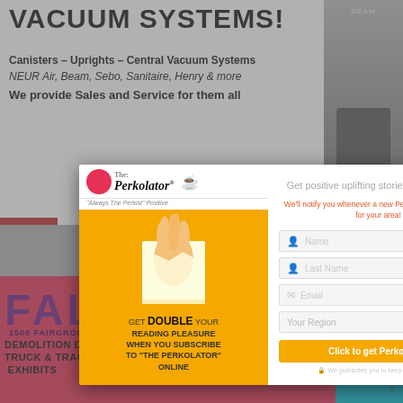VACUUM SYSTEMS!
Canisters – Uprights – Central Vacuum Systems
NEUR Air, Beam, Sebo, Sanitaire, Henry & more
We provide Sales and Service for them all
[Figure (photo): BEAM central vacuum unit on right side]
[Figure (infographic): The Perkolator popup modal with subscription form. Left panel: yellow background with Perkolator logo, hand breaking through paper, text 'GET DOUBLE YOUR READING PLEASURE WHEN YOU SUBSCRIBE TO THE PERKOLATOR ONLINE'. Right panel: white form with headline 'Get positive uplifting stories to your inbox!', red subtext 'We'll notify you whenever a new Perkolator is published for your area!', input fields for Name, Last Name, Email, Your Region dropdown, orange 'Click to get Perkolated!' button, privacy note.]
GET DOUBLE YOUR READING PLEASURE WHEN YOU SUBSCRIBE TO "THE PERKOLATOR" ONLINE
Get positive uplifting stories to your inbox!
We'll notify you whenever a new Perkolator is published for your area!
[Figure (infographic): Fall Fair advertisement with purple FALL text, 1500 FAIRGROUNDS RD SEVERN, DEMOLITION DERBY, TRUCK & TRACTOR PULLS, EXHIBITS text on colorful background]
1500 FAIRGROUNDS RD SEVERN
DEMOLITION DERBY TRUCK & TRACTOR PULLS EXHIBITS